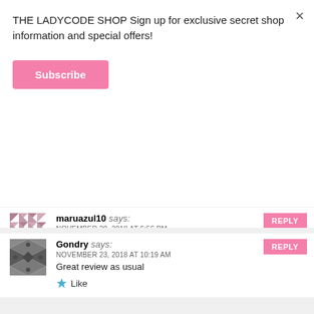THE LADYCODE SHOP Sign up for exclusive secret shop information and special offers!
Subscribe
maruazul10 says:
NOVEMBER 20, 2018 AT 6:56 PM
Great review and you look so beautiful.
Like
Gondry says:
NOVEMBER 23, 2018 AT 10:19 AM
Great review as usual
Like